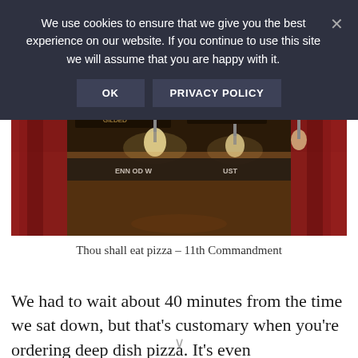We use cookies to ensure that we give you the best experience on our website. If you continue to use this site we will assume that you are happy with it.
[Figure (photo): Interior of a restaurant/pub with red curtains, hanging lights, and wooden decor with signs on the ceiling.]
Thou shall eat pizza – 11th Commandment
We had to wait about 40 minutes from the time we sat down, but that's customary when you're ordering deep dish pizza. It's even